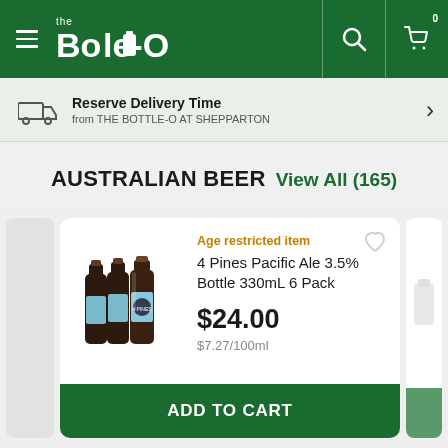the Bottle-O — Search — Cart (0)
Reserve Delivery Time from THE BOTTLE-O AT SHEPPARTON
AUSTRALIAN BEER View All (165)
Age restricted item
4 Pines Pacific Ale 3.5% Bottle 330mL 6 Pack
$24.00
$7.27/100ml
ADD TO CART